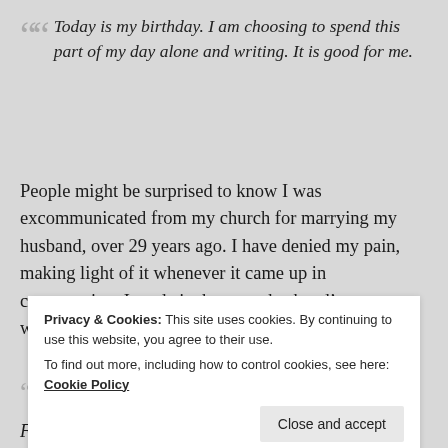“ Today is my birthday. I am choosing to spend this part of my day alone and writing. It is good for me.
People might be surprised to know I was excommunicated from my church for marrying my husband, over 29 years ago. I have denied my pain, making light of it whenever it came up in conversation. I made it about my husband’s woundedness, rather than my own.
““ Oh, I knew what would happen. I grew up in a
Privacy & Cookies: This site uses cookies. By continuing to use this website, you agree to their use.
To find out more, including how to control cookies, see here: Cookie Policy
Close and accept
Friends and family I had grown up with, shunned us.